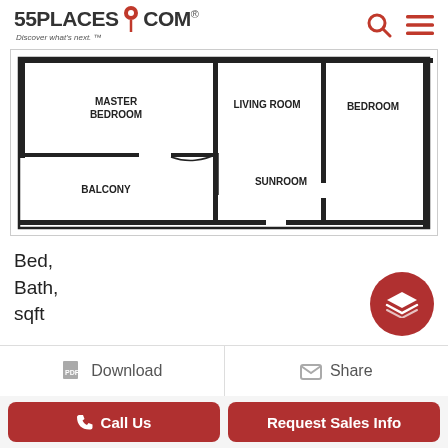55PLACES.COM — Discover what's next.
[Figure (schematic): Floor plan showing Master Bedroom, Living Room, Bedroom, Balcony, and Sunroom with door swing indicated]
Bed,
Bath,
sqft
Download
Share
Call Us
Request Sales Info